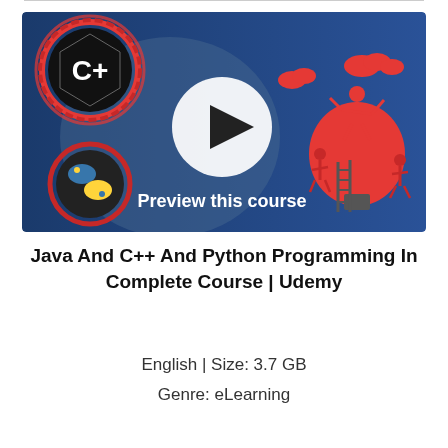[Figure (screenshot): Udemy course preview thumbnail with blue background showing C++ logo (top left), Python logo (bottom left), a play button in center, and illustrated figures near a red lightbulb on the right. Text 'Preview this course' at bottom center.]
Java And C++ And Python Programming In Complete Course | Udemy
English | Size: 3.7 GB
Genre: eLearning